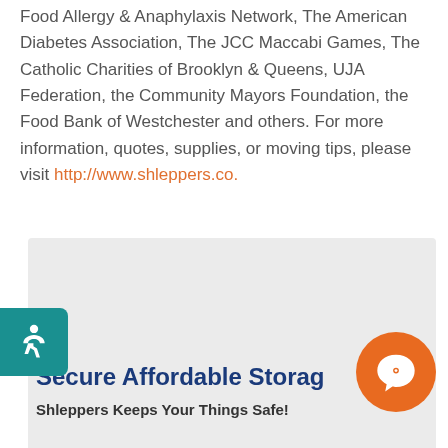Food Allergy & Anaphylaxis Network, The American Diabetes Association, The JCC Maccabi Games, The Catholic Charities of Brooklyn & Queens, UJA Federation, the Community Mayors Foundation, the Food Bank of Westchester and others. For more information, quotes, supplies, or moving tips, please visit http://www.shleppers.co.
[Figure (other): Gray background box serving as a content section background]
[Figure (other): Teal accessibility icon button on left edge with wheelchair symbol]
[Figure (other): Orange circular chat/comment button on bottom right]
Secure Affordable Storage
Shleppers Keeps Your Things Safe!